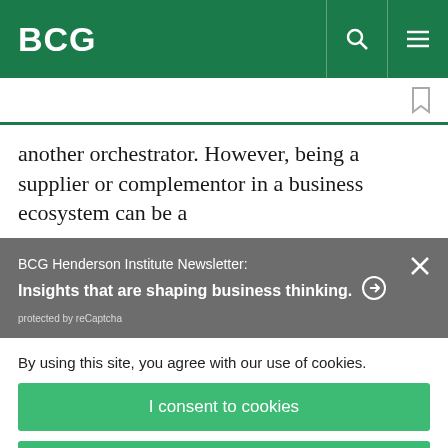BCG
another orchestrator. However, being a supplier of complementor in a business ecosystem can be a
BCG Henderson Institute Newsletter: Insights that are shaping business thinking. ➜
protected by reCaptcha
By using this site, you agree with our use of cookies.
I consent to cookies
Want to know more?
Read our Cookie Policy